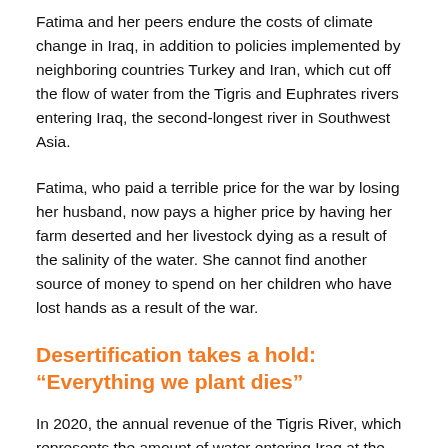Fatima and her peers endure the costs of climate change in Iraq, in addition to policies implemented by neighboring countries Turkey and Iran, which cut off the flow of water from the Tigris and Euphrates rivers entering Iraq, the second-longest river in Southwest Asia.
Fatima, who paid a terrible price for the war by losing her husband, now pays a higher price by having her farm deserted and her livestock dying as a result of the salinity of the water. She cannot find another source of money to spend on her children who have lost hands as a result of the war.
Desertification takes a hold: “Everything we plant dies”
In 2020, the annual revenue of the Tigris River, which represents the amount of water entering Iraq at the Turkish border, decreased to 11.44 billion cubic meters of water, down from 31.29 billion cubic meters in 2019.